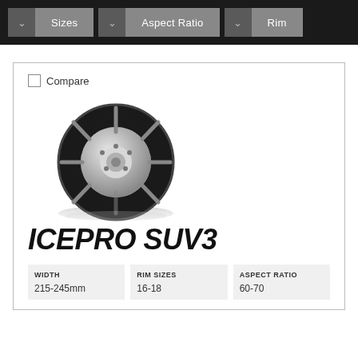Sizes | Aspect Ratio | Rim
Compare
[Figure (photo): GT Radial IcePro SUV3 tire with silver alloy wheel rim, shown at an angle with a reflection beneath it on a white background.]
ICEPRO SUV3
| WIDTH | RIM SIZES | ASPECT RATIO |
| --- | --- | --- |
| 215-245mm | 16-18 | 60-70 |